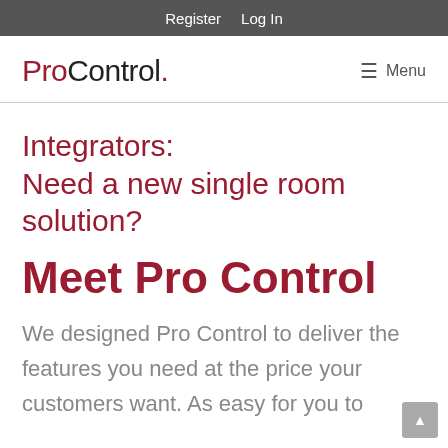Register   Log In
[Figure (logo): ProControl. logo with hamburger menu icon and 'Menu' text on the right]
Integrators: Need a new single room solution?
Meet Pro Control
We designed Pro Control to deliver the features you need at the price your customers want. As easy for you to